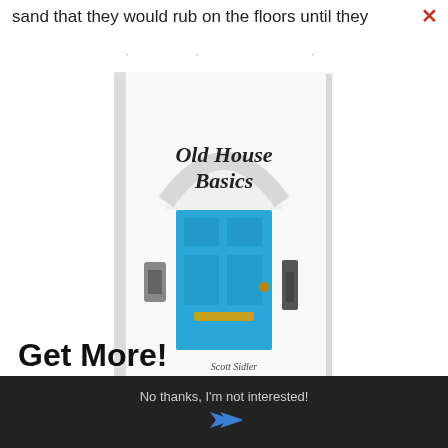sand that they would rub on the floors until they
[Figure (illustration): Book cover of 'Old House Basics' by Scott Sidler, showing a white building facade with a blue door under an arched entrance.]
Get More!
Join the Craftsman Insiders
No thanks, I'm not interested!